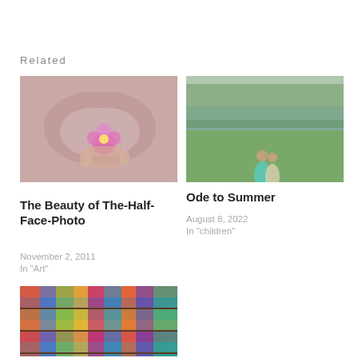Related
[Figure (photo): Child holding a pink flower, closeup shot with pink clothing background]
The Beauty of The-Half-Face-Photo
November 2, 2011
In "Art"
[Figure (photo): Two people in teal/green dresses standing by a lake with green grass]
Ode to Summer
August 8, 2022
In "children"
[Figure (photo): Colorful stacked fabrics/textiles on shelves in a market]